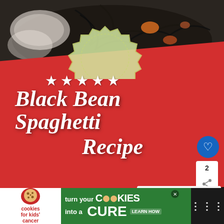[Figure (photo): Black bean spaghetti dish with tomatoes and vegetables, shown from two angles with a red promotional banner overlay containing five stars and the text 'Black Bean Spaghetti Recipe']
Black Bean Spaghetti Recipe
[Figure (infographic): UI elements: heart/like button (blue circle), share count showing '2', share button, and 'WHAT'S NEXT' card with thumbnail and text 'Oven-Baked Chuck Roas...']
[Figure (infographic): Advertisement banner: 'cookies for kids' cancer' logo on left, text 'turn your COOKIES into a CURE LEARN HOW' in center, dark right section with menu icon]